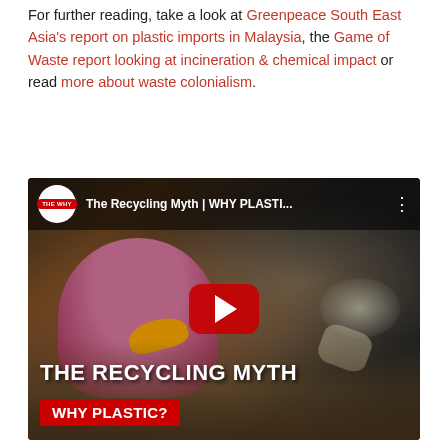For further reading, take a look at Greenpeace South East Asia's report on plastic imports in Malaysia, the Game of Waste report looking at incineration & chemical impact or read more about waste colonialism.
[Figure (screenshot): YouTube video thumbnail for 'The Recycling Myth | WHY PLASTI...' showing a person in a pink hoodie and yellow gloves sorting through garbage. The video has a red play button in the center. Bottom text reads 'THE RECYCLING MYTH' and 'WHY PLASTIC?' on a red bar. The channel logo shows 'THE WHY' in a white circle.]